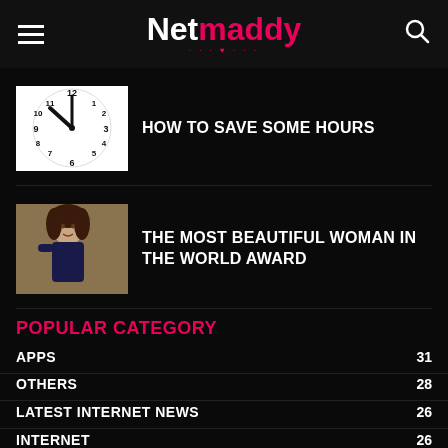Netmaddy
HOW TO SAVE SOME HOURS
THE MOST BEAUTIFUL WOMAN IN THE WORLD AWARD
POPULAR CATEGORY
APPS 31
OTHERS 28
LATEST INTERNET NEWS 26
INTERNET 26